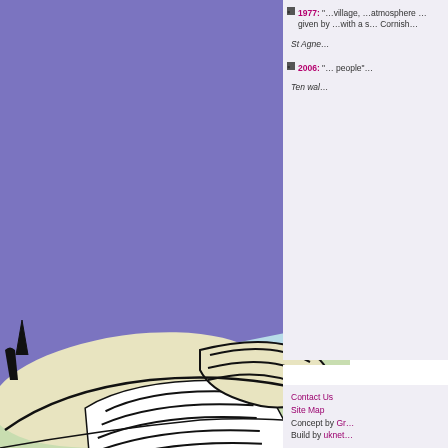[Figure (illustration): Cartoon illustration of a person lying down or reclining, shown from the waist up, wearing a striped top. Purple/violet sky background in the upper portion, light blue and green ground area in the lower portion.]
1977: "...village, ...atmosphere ...given by ...with a s... Cornish..."
St Agne...
2006: "... people"...
Ten wal...
Contact Us
Site Map
Concept by Gr...
Build by uknet...